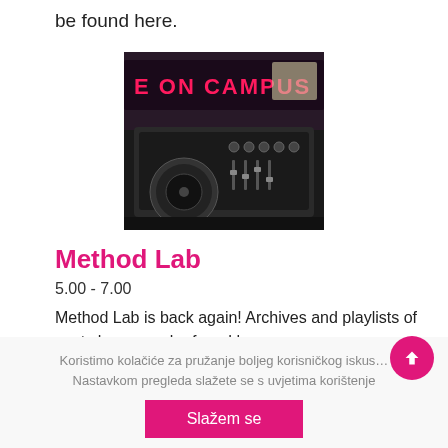be found here.
[Figure (photo): DJ turntable/mixer equipment with neon sign reading 'E ON CAMPUS' in the background]
Method Lab
5.00 - 7.00
Method Lab is back again! Archives and playlists of past shows can be found here.
Koristimo kolačiće za pružanje boljeg korisničkog iskus… Nastavkom pregleda slažete se s uvjetima korištenje
Slažem se